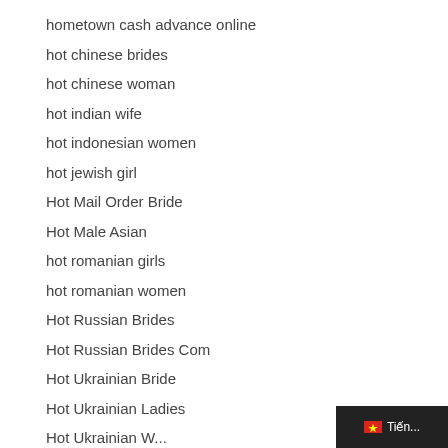hometown cash advance online
hot chinese brides
hot chinese woman
hot indian wife
hot indonesian women
hot jewish girl
Hot Mail Order Bride
Hot Male Asian
hot romanian girls
hot romanian women
Hot Russian Brides
Hot Russian Brides Com
Hot Ukrainian Bride
Hot Ukrainian Ladies
Hot Ukrainian W...